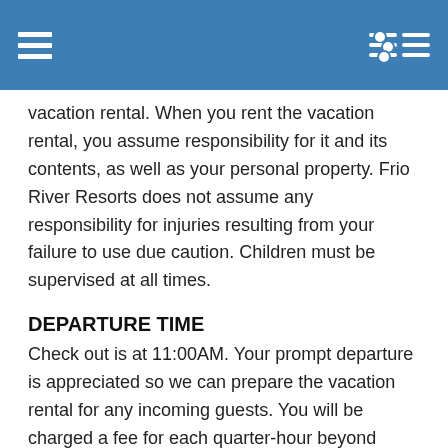vacation rental. When you rent the vacation rental, you assume responsibility for it and its contents, as well as your personal property. Frio River Resorts does not assume any responsibility for injuries resulting from your failure to use due caution. Children must be supervised at all times.
DEPARTURE TIME
Check out is at 11:00AM. Your prompt departure is appreciated so we can prepare the vacation rental for any incoming guests. You will be charged a fee for each quarter-hour beyond 11:00AM you are still on the property.
GENERAL POLICIES
Unlicensed vehicles such as 4-wheelers, mules, "side-by-